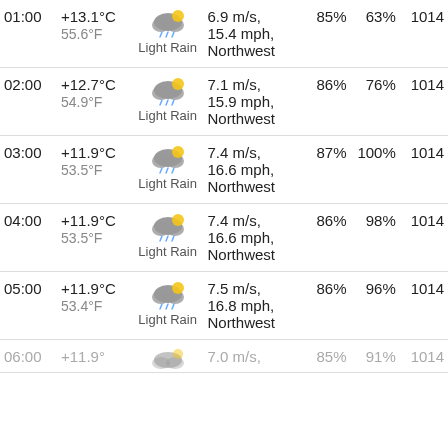| Time | Temp | Condition | Wind | Humidity | Cloud | Pressure |
| --- | --- | --- | --- | --- | --- | --- |
| 01:00 | +13.1°C / 55.6°F | Light Rain | 6.9 m/s, 15.4 mph, Northwest | 85% | 63% | 1014 |
| 02:00 | +12.7°C / 54.9°F | Light Rain | 7.1 m/s, 15.9 mph, Northwest | 86% | 76% | 1014 |
| 03:00 | +11.9°C / 53.5°F | Light Rain | 7.4 m/s, 16.6 mph, Northwest | 87% | 100% | 1014 |
| 04:00 | +11.9°C / 53.5°F | Light Rain | 7.4 m/s, 16.6 mph, Northwest | 86% | 98% | 1014 |
| 05:00 | +11.9°C / 53.4°F | Light Rain | 7.5 m/s, 16.8 mph, Northwest | 86% | 96% | 1014 |
| 06:00 | +11.9°C | Light Rain | 7.0 m/s | 85% | 91% | 1014 |